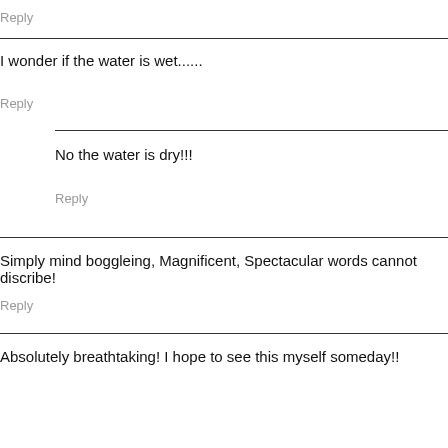Reply
I wonder if the water is wet......
Reply
No the water is dry!!!
Reply
Simply mind boggleing, Magnificent, Spectacular words cannot discribe!
Reply
Absolutely breathtaking! I hope to see this myself someday!!